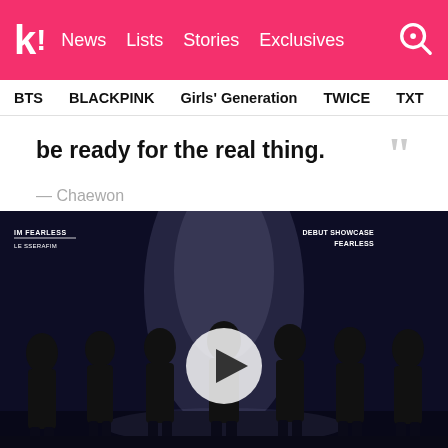k! News Lists Stories Exclusives
BTS  BLACKPINK  Girls' Generation  TWICE  TXT  SEVE
be ready for the real thing.
— Chaewon
[Figure (photo): Le Sserafim group performing on stage at their Debut Showcase Fearless, wearing black outfits, with a video play button overlay. Text overlays: 'IM FEARLESS LE SSERAFIM' on the left and 'DEBUT SHOWCASE FEARLESS' on the right.]